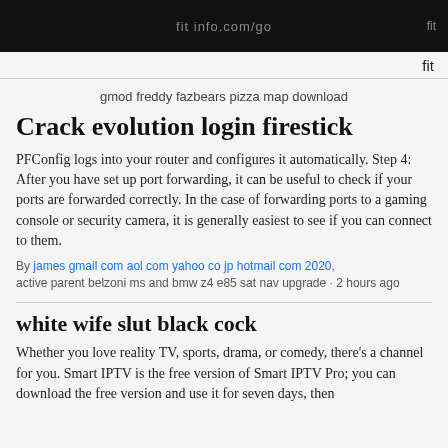fit
gmod freddy fazbears pizza map download
Crack evolution login firestick
PFConfig logs into your router and configures it automatically. Step 4: After you have set up port forwarding, it can be useful to check if your ports are forwarded correctly. In the case of forwarding ports to a gaming console or security camera, it is generally easiest to see if you can connect to them.
By james gmail com aol com yahoo co jp hotmail com 2020, active parent belzoni ms and bmw z4 e85 sat nav upgrade · 2 hours ago
white wife slut black cock
Whether you love reality TV, sports, drama, or comedy, there's a channel for you. Smart IPTV is the free version of Smart IPTV Pro; you can download the free version and use it for seven days, then